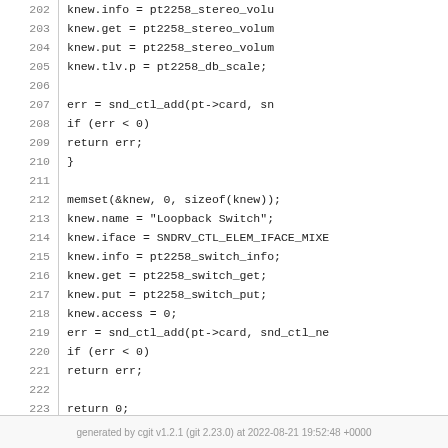[Figure (screenshot): Source code listing lines 202-227 of a C kernel driver for pt2258 audio chip, showing control element setup and EXPORT_SYMBOL macros]
generated by cgit v1.2.1 (git 2.23.0) at 2022-08-21 19:52:48 +0000